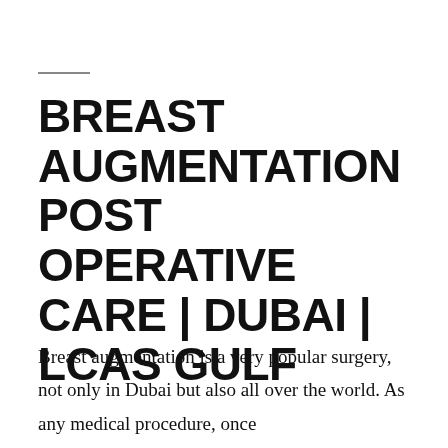BREAST AUGMENTATION POST OPERATIVE CARE | DUBAI | LCAS GULF
Breast augmentation is a very popular surgery, not only in Dubai but also all over the world. As any medical procedure, once